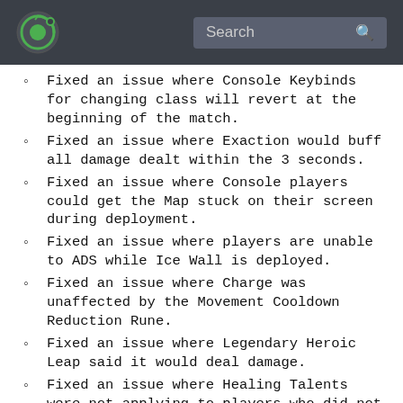Search
Fixed an issue where Console Keybinds for changing class will revert at the beginning of the match.
Fixed an issue where Exaction would buff all damage dealt within the 3 seconds.
Fixed an issue where Console players could get the Map stuck on their screen during deployment.
Fixed an issue where players are unable to ADS while Ice Wall is deployed.
Fixed an issue where Charge was unaffected by the Movement Cooldown Reduction Rune.
Fixed an issue where Legendary Heroic Leap said it would deal damage.
Fixed an issue where Healing Talents were not applying to players who did not